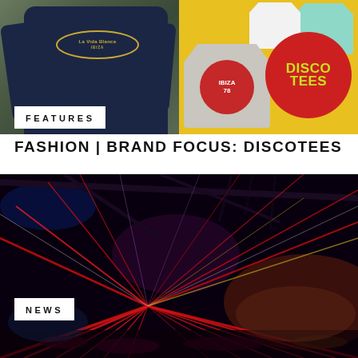[Figure (photo): Top composite image: left half shows a person wearing a dark navy La Vida Blanca sweatshirt with a gold oval logo; right half shows a yellow background with clothing items including a mint green sweatshirt, a gray t-shirt with Ibiza 78 red circle graphic, and a Disco Tees red circle logo with yellow-green retro lettering.]
FEATURES
FASHION | BRAND FOCUS: DISCOTEES
[Figure (photo): Large nightclub/concert venue interior photo showing dramatic red laser light beams radiating from a central vanishing point across a packed crowd, with industrial ceiling structure visible above and warm ambient lighting in the background.]
NEWS